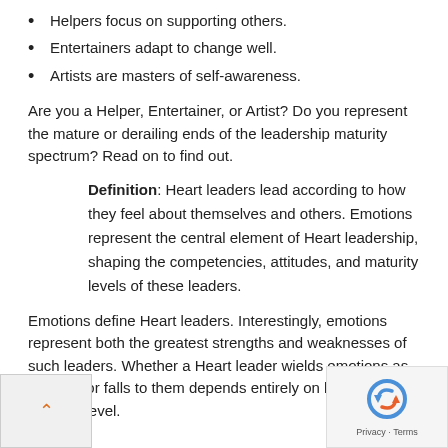Helpers focus on supporting others.
Entertainers adapt to change well.
Artists are masters of self-awareness.
Are you a Helper, Entertainer, or Artist? Do you represent the mature or derailing ends of the leadership maturity spectrum? Read on to find out.
Definition: Heart leaders lead according to how they feel about themselves and others. Emotions represent the central element of Heart leadership, shaping the competencies, attitudes, and maturity levels of these leaders.
Emotions define Heart leaders. Interestingly, emotions represent both the greatest strengths and weaknesses of such leaders. Whether a Heart leader wields emotions as strength or falls to them depends entirely on his/her maturity level.